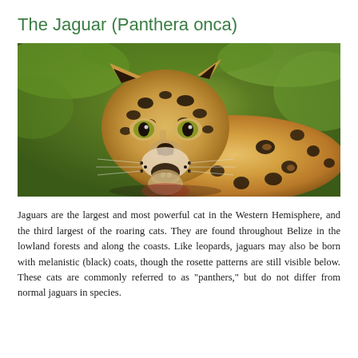The Jaguar (Panthera onca)
[Figure (photo): Close-up photograph of a jaguar (Panthera onca) facing the camera, showing its spotted coat with rosette patterns, amber eyes, prominent whiskers, and open mouth revealing teeth. The background shows blurred green foliage.]
Jaguars are the largest and most powerful cat in the Western Hemisphere, and the third largest of the roaring cats. They are found throughout Belize in the lowland forests and along the coasts. Like leopards, jaguars may also be born with melanistic (black) coats, though the rosette patterns are still visible below. These cats are commonly referred to as "panthers," but do not differ from normal jaguars in species.